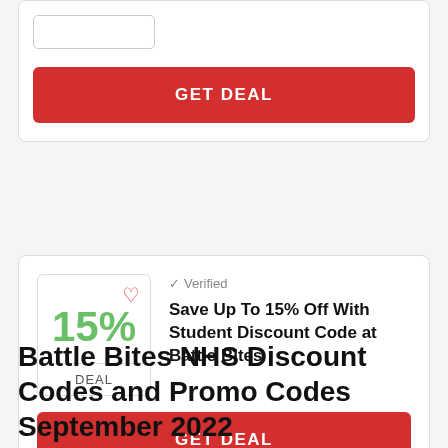[Figure (screenshot): Top portion of a deal card with a GET DEAL red button, partially cropped at top]
[Figure (screenshot): Deal card showing 15% discount with heart icon, Verified label, and offer title Save Up To 15% Off With Student Discount Code at Battle Bites, with GET DEAL red button]
Battle Bites NHS Discount Codes and Promo Codes September 2022